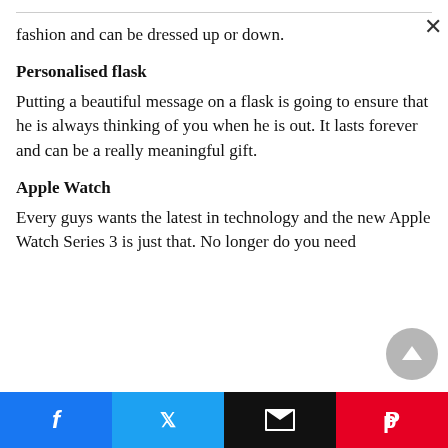fashion and can be dressed up or down.
Personalised flask
Putting a beautiful message on a flask is going to ensure that he is always thinking of you when he is out. It lasts forever and can be a really meaningful gift.
Apple Watch
Every guys wants the latest in technology and the new Apple Watch Series 3 is just that. No longer do you need